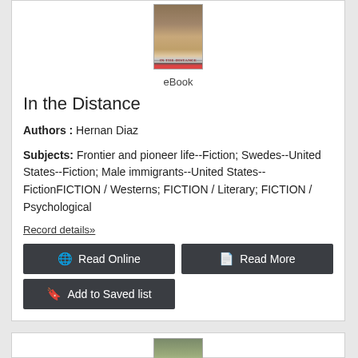[Figure (illustration): Book cover thumbnail for 'In the Distance' eBook]
eBook
In the Distance
Authors : Hernan Diaz
Subjects: Frontier and pioneer life--Fiction; Swedes--United States--Fiction; Male immigrants--United States--FictionFICTION / Westerns; FICTION / Literary; FICTION / Psychological
Record details»
Read Online
Read More
Add to Saved list
[Figure (illustration): Second book cover thumbnail at bottom of page]